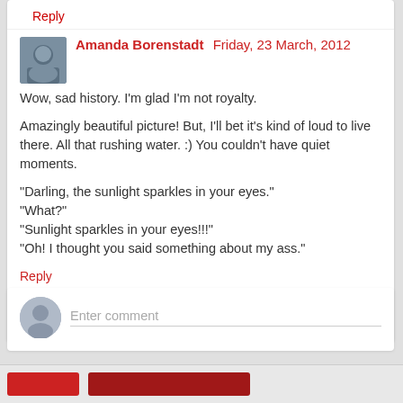Reply
Amanda Borenstadt  Friday, 23 March, 2012
Wow, sad history. I'm glad I'm not royalty.

Amazingly beautiful picture! But, I'll bet it's kind of loud to live there. All that rushing water. :) You couldn't have quiet moments.

"Darling, the sunlight sparkles in your eyes."
"What?"
"Sunlight sparkles in your eyes!!!"
"Oh! I thought you said something about my ass."
Reply
Enter comment